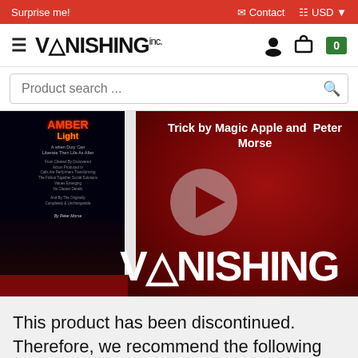Surprise me! | Contact | USD
VANISHING inc. navigation with user, cart (0)
Product search ...
[Figure (screenshot): Video thumbnail with dark red background showing a book cover on the left, a play button in center, text 'Trick by Magic Apple and Peter Morse' at top, and VANISHING watermark at bottom right]
This product has been discontinued. Therefore, we recommend the following similar products:
Advanced Topics · Bold Products · Shop More